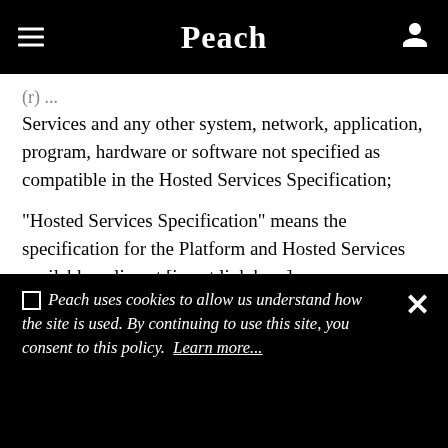Peach
(...) ... Services and any other system, network, application, program, hardware or software not specified as compatible in the Hosted Services Specification;
"Hosted Services Specification" means the specification for the Platform and Hosted Services available online at [insert link here];
"Intellectual Property Rights" means all intellectual property rights wherever in the world, whether registrable or registrable, registered or unregistered ...
🍪 Peach uses cookies to allow us understand how the site is used. By continuing to use this site, you consent to this policy. Learn more...